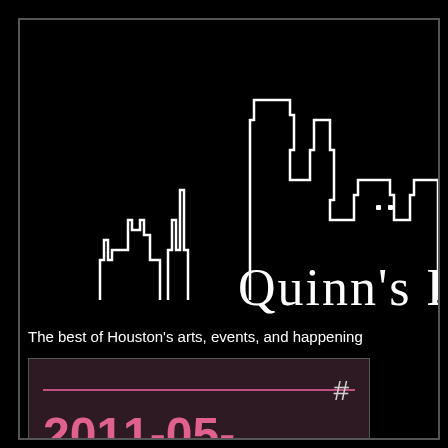[Figure (illustration): White outline silhouette of a city skyline (buildings) on black background, with the partial text "Quinn's B" in a serif font below the skyline]
The best of Houston's arts, events, and happening
2011-05-23/29